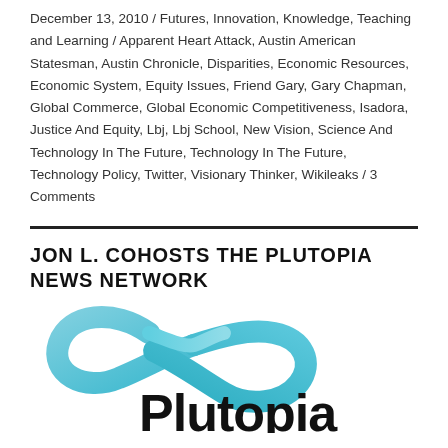December 13, 2010 / Futures, Innovation, Knowledge, Teaching and Learning / Apparent Heart Attack, Austin American Statesman, Austin Chronicle, Disparities, Economic Resources, Economic System, Equity Issues, Friend Gary, Gary Chapman, Global Commerce, Global Economic Competitiveness, Isadora, Justice And Equity, Lbj, Lbj School, New Vision, Science And Technology In The Future, Technology In The Future, Technology Policy, Twitter, Visionary Thinker, Wikileaks / 3 Comments
JON L. COHOSTS THE PLUTOPIA NEWS NETWORK
[Figure (logo): Plutopia logo with a blue infinity-like swoosh graphic above the word 'Plutopia' in dark black text]